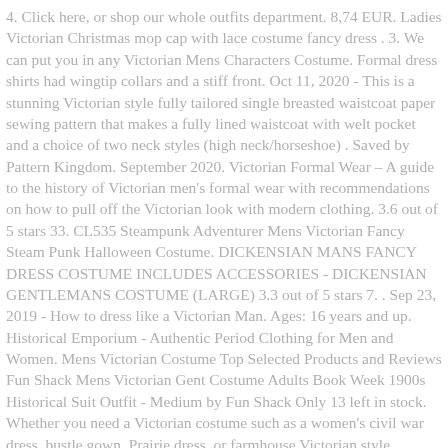4. Click here, or shop our whole outfits department. 8,74 EUR. Ladies Victorian Christmas mop cap with lace costume fancy dress . 3. We can put you in any Victorian Mens Characters Costume. Formal dress shirts had wingtip collars and a stiff front. Oct 11, 2020 - This is a stunning Victorian style fully tailored single breasted waistcoat paper sewing pattern that makes a fully lined waistcoat with welt pocket and a choice of two neck styles (high neck/horseshoe) . Saved by Pattern Kingdom. September 2020. Victorian Formal Wear – A guide to the history of Victorian men's formal wear with recommendations on how to pull off the Victorian look with modern clothing. 3.6 out of 5 stars 33. CL535 Steampunk Adventurer Mens Victorian Fancy Steam Punk Halloween Costume. DICKENSIAN MANS FANCY DRESS COSTUME INCLUDES ACCESSORIES - DICKENSIAN GENTLEMANS COSTUME (LARGE) 3.3 out of 5 stars 7. . Sep 23, 2019 - How to dress like a Victorian Man. Ages: 16 years and up. Historical Emporium - Authentic Period Clothing for Men and Women. Mens Victorian Costume Top Selected Products and Reviews Fun Shack Mens Victorian Gent Costume Adults Book Week 1900s Historical Suit Outfit - Medium by Fun Shack Only 13 left in stock. Whether you need a Victorian costume such as a women's civil war dress, bustle gown, Prairie dress, or farmhouse Victorian style (#CottageCore) clothing f...